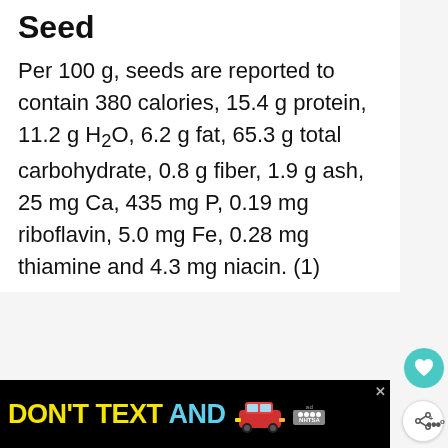Seed
Per 100 g, seeds are reported to contain 380 calories, 15.4 g protein, 11.2 g H2O, 6.2 g fat, 65.3 g total carbohydrate, 0.8 g fiber, 1.9 g ash, 25 mg Ca, 435 mg P, 0.19 mg riboflavin, 5.0 mg Fe, 0.28 mg thiamine and 4.3 mg niacin. (1)
[Figure (other): Heart/favorite button icon (teal circle with white heart)]
[Figure (other): Share button icon (white circle with share symbol)]
[Figure (other): What's Next card showing Horseradish – Health... with thumbnail image]
[Figure (other): Advertisement banner: DON'T TEXT AND [car image] with NHTSA logo]